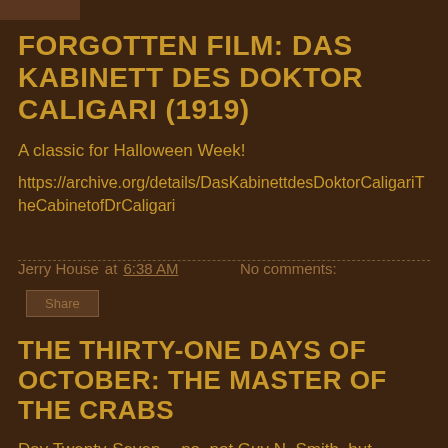FORGOTTEN FILM: DAS KABINETT DES DOKTOR CALIGARI (1919)
A classic for Halloween Week!
https://archive.org/details/DasKabinettdesDoktorCaligariTheCabinetofDrCaligari
Jerry House at 6:38 AM   No comments:
Share
THE THIRTY-ONE DAYS OF OCTOBER: THE MASTER OF THE CRABS
Day Twenty-Seven -- no, not Guy N. Smith, but another Smith:  Clark Ashton Smith.